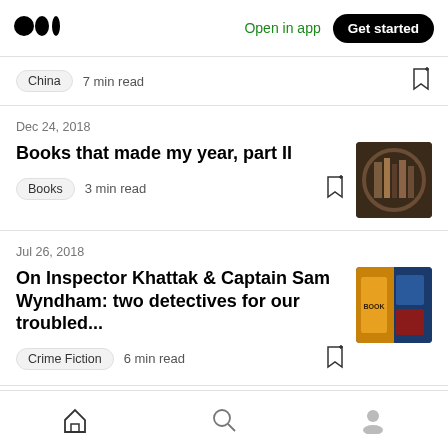Medium logo | Open in app | Get started
China  7 min read
Dec 24, 2018
Books that made my year, part II
Books  3 min read
Jul 26, 2018
On Inspector Khattak & Captain Sam Wyndham: two detectives for our troubled...
Crime Fiction  6 min read